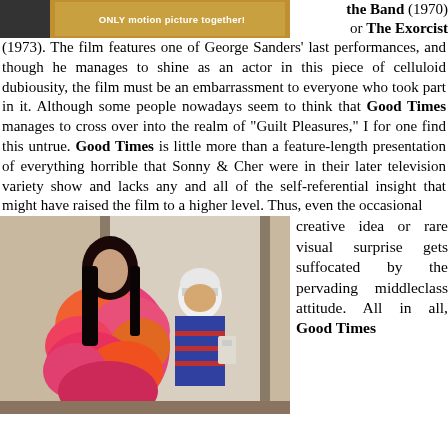[Figure (photo): Top portion of a movie poster or promotional image with orange/gold tones and text 'ONLY motion picture together!']
the Band (1970) or The Exorcist (1973). The film features one of George Sanders' last performances, and though he manages to shine as an actor in this piece of celluloid dubiousity, the film must be an embarrassment to everyone who took part in it. Although some people nowadays seem to think that Good Times manages to cross over into the realm of "Guilt Pleasures," I for one find this untrue. Good Times is little more than a feature-length presentation of everything horrible that Sonny & Cher were in their later television variety show and lacks any and all of the self-referential insight that might have raised the film to a higher level. Thus, even the occasional
[Figure (photo): A woman in a pink and orange feather boa dress standing in a doorway, with a man in a white helmet visible behind her.]
creative idea or rare visual surprise gets suffocated by the pervading middleclass attitude. All in all, Good Times